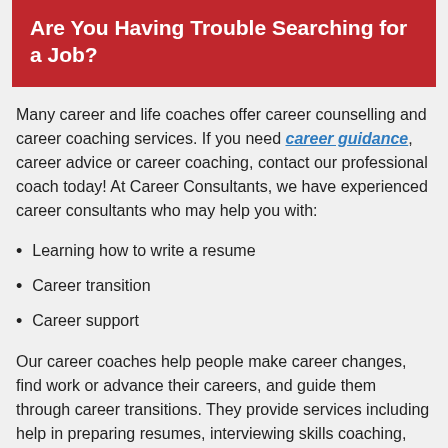Are You Having Trouble Searching for a Job?
Many career and life coaches offer career counselling and career coaching services. If you need career guidance, career advice or career coaching, contact our professional coach today! At Career Consultants, we have experienced career consultants who may help you with:
Learning how to write a resume
Career transition
Career support
Our career coaches help people make career changes, find work or advance their careers, and guide them through career transitions. They provide services including help in preparing resumes, interviewing skills coaching, providing career guidance/career coaching, career counselling